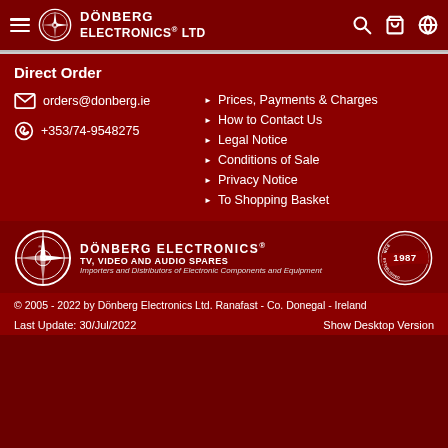Dönberg Electronics® Ltd
Direct Order
orders@donberg.ie
+353/74-9548275
Prices, Payments & Charges
How to Contact Us
Legal Notice
Conditions of Sale
Privacy Notice
To Shopping Basket
[Figure (logo): Dönberg Electronics Ltd logo with compass rose and Since 1987 badge. TV, VIDEO AND AUDIO SPARES. Importers and Distributors of Electronic Components and Equipment.]
© 2005 - 2022 by Dönberg Electronics Ltd. Ranafast - Co. Donegal - Ireland
Last Update: 30/Jul/2022   Show Desktop Version